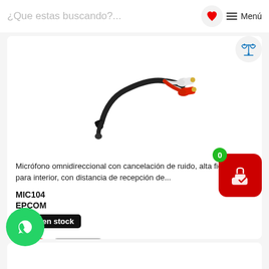¿Que estas buscando?...
[Figure (photo): Omnidirectional microphone with black cable and red/white RCA connectors]
Micrófono omnidireccional con cancelación de ruido, alta fidelidad, para interior, con distancia de recepción de...
MIC104
EPCOM
5375 en stock
$89  IVA Incluido
1  Comprar